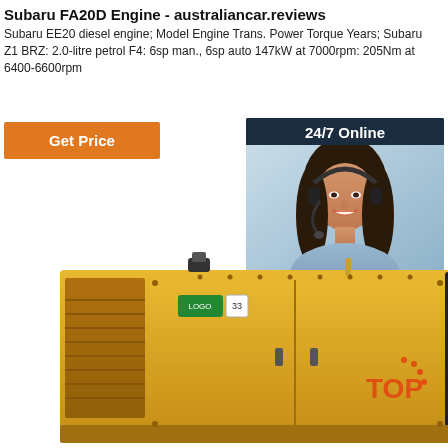Subaru FA20D Engine - australiancar.reviews
Subaru EE20 diesel engine; Model Engine Trans. Power Torque Years; Subaru Z1 BRZ: 2.0-litre petrol F4: 6sp man., 6sp auto 147kW at 7000rpm: 205Nm at 6400-6600rpm
[Figure (other): Orange 'Get Price' button]
[Figure (other): 24/7 Online chat widget with photo of woman wearing headset, 'Click here for free chat!' text and QUOTATION button]
[Figure (photo): Yellow industrial generator machine with black control panel on the right side]
[Figure (other): TOP badge/watermark in lower right corner]